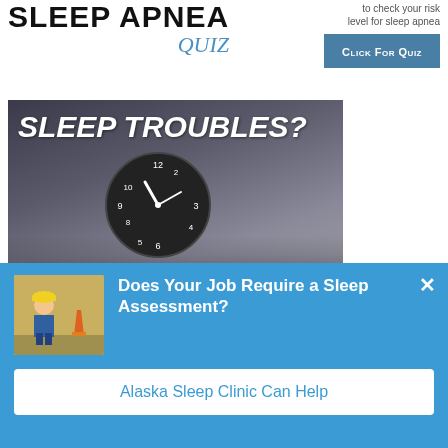SLEEP APNEA QUIZ
to check your risk level for sleep apnea
CLICK FOR QUIZ
[Figure (photo): Photo of a man in business attire asleep at a laptop, with a large clock above showing the text SLEEP TROUBLES? in white italic bold text overlay]
[Figure (photo): Thumbnail image of a construction worker sitting near orange traffic cones]
Does Your Job Require a Sleep Assessment?
Alaska Sleep Clinic Can Help